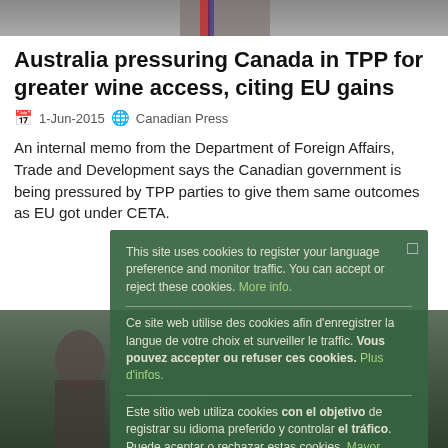[Figure (photo): Top photo strip showing a person in a suit, partially cropped]
Australia pressuring Canada in TPP for greater wine access, citing EU gains
1-Jun-2015  Canadian Press
An internal memo from the Department of Foreign Affairs, Trade and Development says the Canadian government is being pressured by TPP parties to give them same outcomes as EU got under CETA.
[Figure (photo): Background photo partially visible behind cookie consent overlay]
This site uses cookies to register your language preference and monitor traffic. You can accept or reject these cookies. More info.
Ce site web utilise des cookies afin d'enregistrer la langue de votre choix et surveiller le traffic. Vous pouvez accepter ou refuser ces cookies. Plus d'infos.
Este sitio web utiliza cookies con el objetivo de registrar su idioma preferido y controlar el tráfico. Puede aceptar o rechazar estas cookies. Mayor información.
Ok